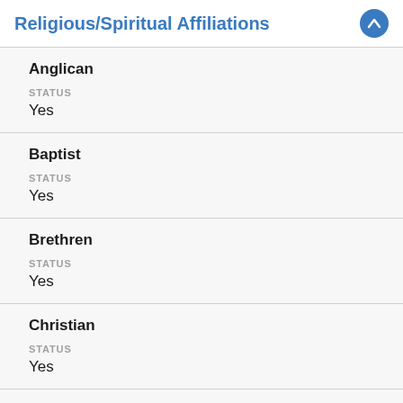Religious/Spiritual Affiliations
Anglican
STATUS
Yes
Baptist
STATUS
Yes
Brethren
STATUS
Yes
Christian
STATUS
Yes
Denominations/Faiths represented